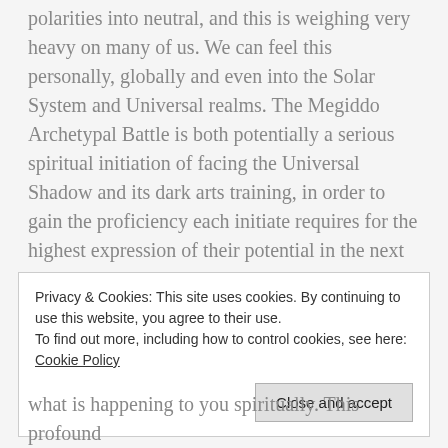polarities into neutral, and this is weighing very heavy on many of us. We can feel this personally, globally and even into the Solar System and Universal realms. The Megiddo Archetypal Battle is both potentially a serious spiritual initiation of facing the Universal Shadow and its dark arts training, in order to gain the proficiency each initiate requires for the highest expression of their potential in the next cycle.
Privacy & Cookies: This site uses cookies. By continuing to use this website, you agree to their use. To find out more, including how to control cookies, see here: Cookie Policy
what is happening to you spiritually. This profound